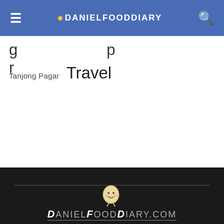● DANIELFOODDIARY
g p
Tanjong Pagar  Travel
[Figure (logo): DanielFoodDiary mascot logo - a round egg-like character with a smiley face, with text DANIELFOODDIARY.COM below it on a dark background]